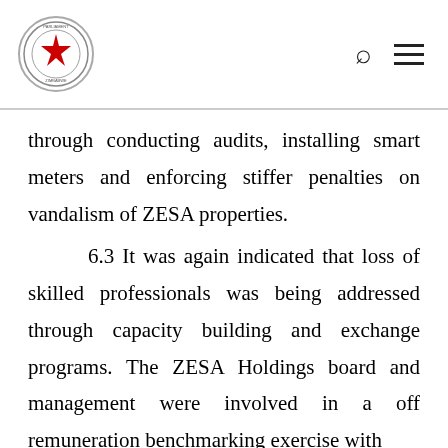Parliament of Zimbabwe
through conducting audits, installing smart meters and enforcing stiffer penalties on vandalism of ZESA properties.
6.3 It was again indicated that loss of skilled professionals was being addressed through capacity building and exchange programs. The ZESA Holdings board and management were involved in a off remuneration benchmarking exercise with